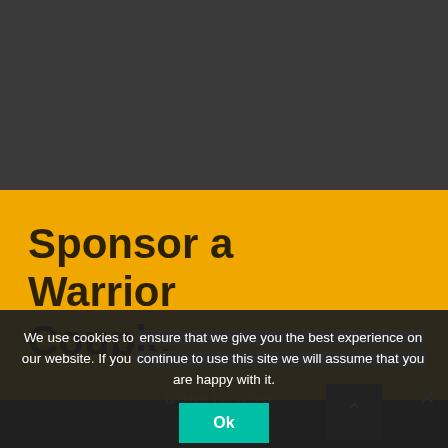[Figure (screenshot): Dark gray top navigation/header bar of a website]
Sponsor a Warrior Couple
DONATE NOW
We use cookies to ensure that we give you the best experience on our website. If you continue to use this site we will assume that you are happy with it.
Ok